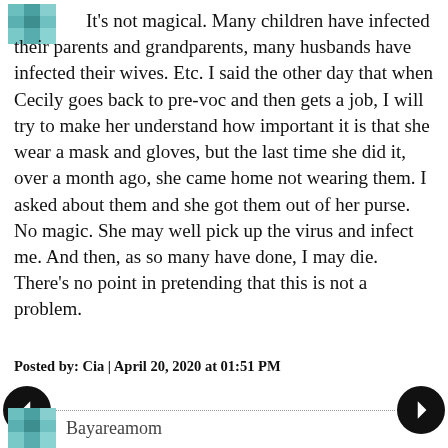[Figure (photo): Small pixelated avatar/profile image in teal/blue tones, top left corner]
It's not magical. Many children have infected their parents and grandparents, many husbands have infected their wives. Etc. I said the other day that when Cecily goes back to pre-voc and then gets a job, I will try to make her understand how important it is that she wear a mask and gloves, but the last time she did it, over a month ago, she came home not wearing them. I asked about them and she got them out of her purse. No magic. She may well pick up the virus and infect me. And then, as so many have done, I may die. There's no point in pretending that this is not a problem.
Posted by: Cia | April 20, 2020 at 01:51 PM
[Figure (photo): Small pixelated avatar/profile image in teal/blue tones, bottom left corner]
Bayareamom